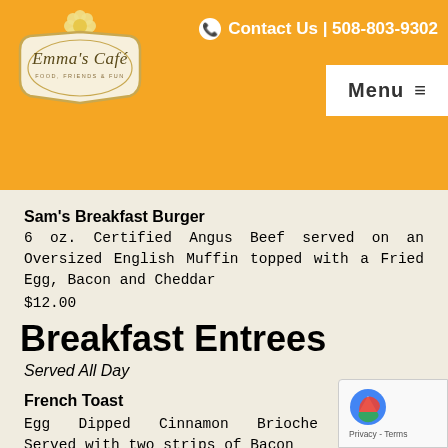Emma's Café | Contact Us | 508-803-9302 | Menu
Sam's Breakfast Burger
6 oz. Certified Angus Beef served on an Oversized English Muffin topped with a Fried Egg, Bacon and Cheddar
$12.00
Breakfast Entrees
Served All Day
French Toast
Egg Dipped Cinnamon Brioche Served with two strips of Bacon